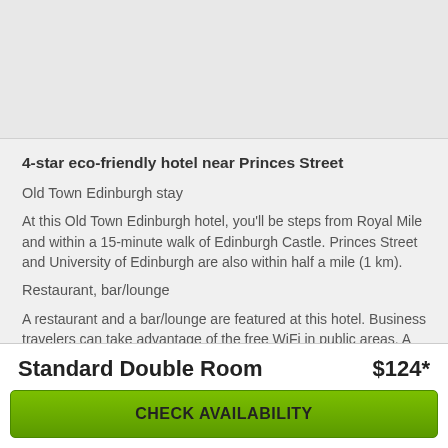[Figure (photo): Hotel photo placeholder, light gray background]
4-star eco-friendly hotel near Princes Street
Old Town Edinburgh stay
At this Old Town Edinburgh hotel, you'll be steps from Royal Mile and within a 15-minute walk of Edinburgh Castle. Princes Street and University of Edinburgh are also within half a mile (1 km).
Restaurant, bar/lounge
A restaurant and a bar/lounge are featured at this hotel. Business travelers can take advantage of the free WiFi in public areas. A coffee shop, express check-out, and dry cleaning are also on offer.
Standard Double Room   $124*
CHECK AVAILABILITY